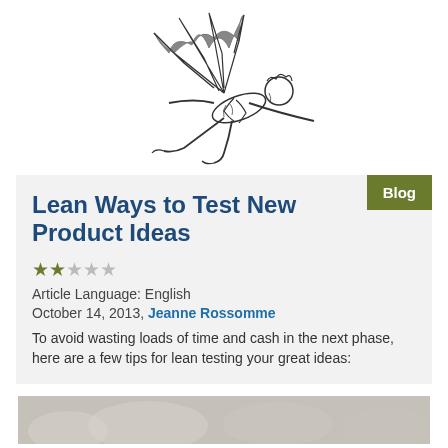[Figure (illustration): Black and white illustration of a person flying or falling through the air with wings/glider apparatus attached]
Lean Ways to Test New Product Ideas
★★☆☆☆
Article Language: English
October 14, 2013, Jeanne Rossomme
To avoid wasting loads of time and cash in the next phase, here are a few tips for lean testing your great ideas:
[Figure (photo): Partial photo visible at the bottom of the page, appears to show people]